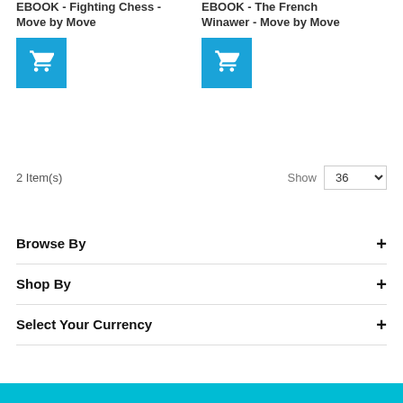EBOOK - Fighting Chess - Move by Move
EBOOK - The French Winawer - Move by Move
[Figure (other): Blue shopping cart button for EBOOK - Fighting Chess - Move by Move]
[Figure (other): Blue shopping cart button for EBOOK - The French Winawer - Move by Move]
2 Item(s)
Show 36
Browse By
Shop By
Select Your Currency